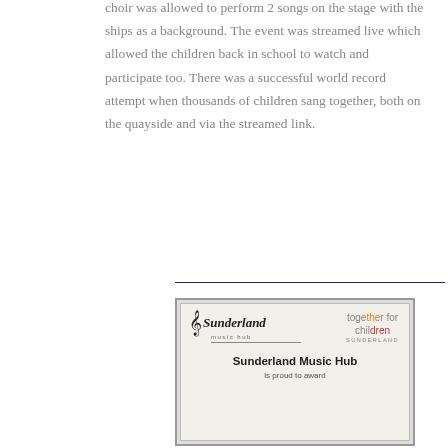choir was allowed to perform 2 songs on the stage with the ships as a background. The event was streamed live which allowed the children back in school to watch and participate too. There was a successful world record attempt when thousands of children sang together, both on the quayside and via the streamed link.
[Figure (photo): A certificate from Sunderland Music Hub and Together for Children Sunderland. The certificate shows both logos and begins with 'Sunderland Music Hub' as the title and 'is proud to award' as subtitle text.]